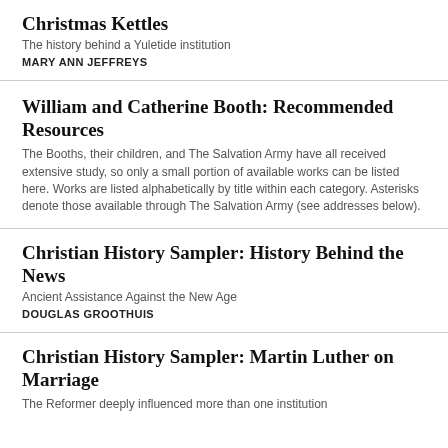Christmas Kettles
The history behind a Yuletide institution
MARY ANN JEFFREYS
William and Catherine Booth: Recommended Resources
The Booths, their children, and The Salvation Army have all received extensive study, so only a small portion of available works can be listed here. Works are listed alphabetically by title within each category. Asterisks denote those available through The Salvation Army (see addresses below).
Christian History Sampler: History Behind the News
Ancient Assistance Against the New Age
DOUGLAS GROOTHUIS
Christian History Sampler: Martin Luther on Marriage
The Reformer deeply influenced more than one institution